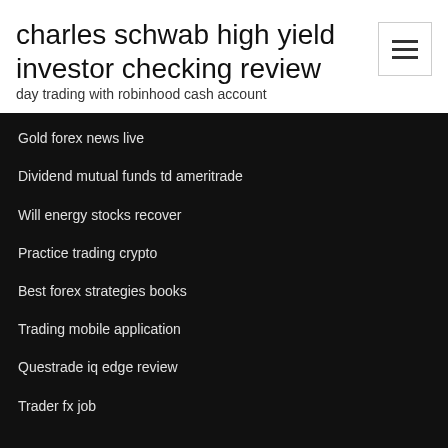charles schwab high yield investor checking review
day trading with robinhood cash account
Gold forex news live
Dividend mutual funds td ameritrade
Will energy stocks recover
Practice trading crypto
Best forex strategies books
Trading mobile application
Questrade iq edge review
Trader fx job